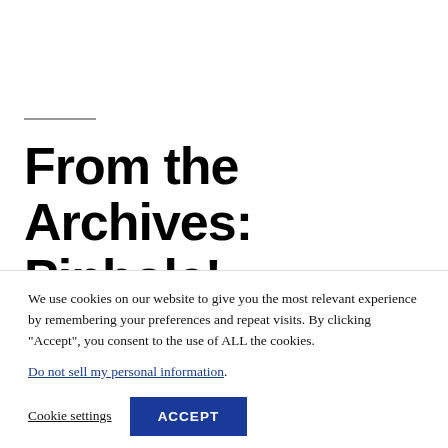From the Archives: Pinhole!
We use cookies on our website to give you the most relevant experience by remembering your preferences and repeat visits. By clicking “Accept”, you consent to the use of ALL the cookies. Do not sell my personal information.
Cookie settings  ACCEPT